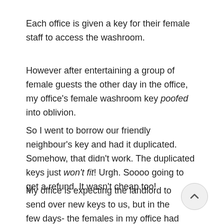Each office is given a key for their female staff to access the washroom.
However after entertaining a group of female guests the other day in the office, my office's female washroom key poofed into oblivion.
So I went to borrow our friendly neighbour's key and had it duplicated. Somehow, that didn't work. The duplicated keys just won't fit! Urgh. Soooo going to get a refund. It wasn't cheap too!
My office is expecting the landlord to send over new keys to us, but in the few days- the females in my office had no choice but to use the handicap washroom.